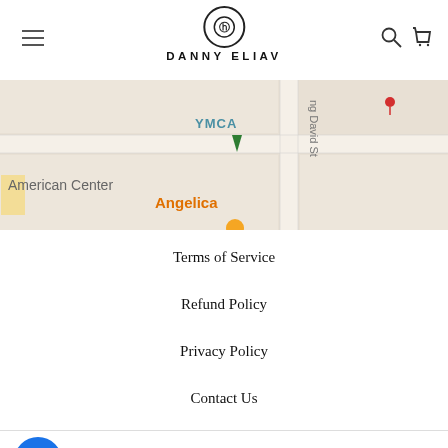DANNY ELIAV
[Figure (map): Google Maps screenshot showing American Center, Angelica, YMCA, and ng David St labels on a street map]
Terms of Service
Refund Policy
Privacy Policy
Contact Us
SIGN UP AND SAVE   USD